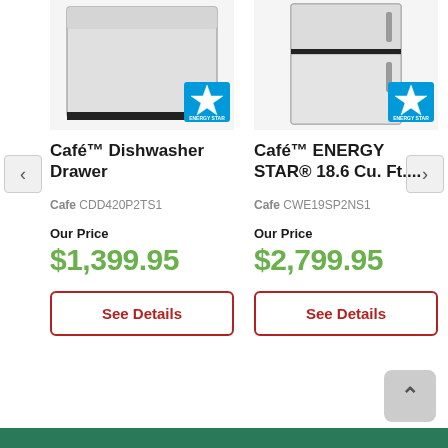[Figure (photo): Café Dishwasher Drawer appliance product image with Energy Star badge]
Café™ Dishwasher Drawer
Cafe CDD420P2TS1
Our Price
$1,399.95
See Details
[Figure (photo): Café ENERGY STAR 18.6 Cu. Ft. refrigerator appliance product image with Energy Star badge]
Café™ ENERGY STAR® 18.6 Cu. Ft....
Cafe CWE19SP2NS1
Our Price
$2,799.95
See Details